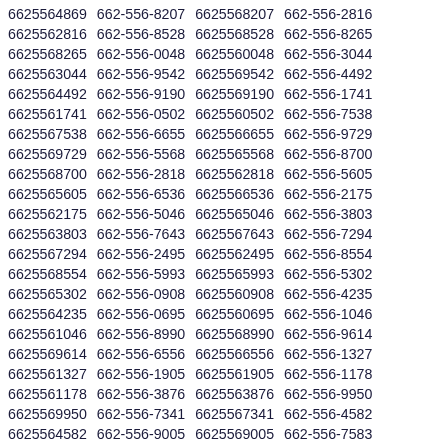6625564869 662-556-8207 6625568207 662-556-2816 6625562816 662-556-8528 6625568528 662-556-8265 6625568265 662-556-0048 6625560048 662-556-3044 6625563044 662-556-9542 6625569542 662-556-4492 6625564492 662-556-9190 6625569190 662-556-1741 6625561741 662-556-0502 6625560502 662-556-7538 6625567538 662-556-6655 6625566655 662-556-9729 6625569729 662-556-5568 6625565568 662-556-8700 6625568700 662-556-2818 6625562818 662-556-5605 6625565605 662-556-6536 6625566536 662-556-2175 6625562175 662-556-5046 6625565046 662-556-3803 6625563803 662-556-7643 6625567643 662-556-7294 6625567294 662-556-2495 6625562495 662-556-8554 6625568554 662-556-5993 6625565993 662-556-5302 6625565302 662-556-0908 6625560908 662-556-4235 6625564235 662-556-0695 6625560695 662-556-1046 6625561046 662-556-8990 6625568990 662-556-9614 6625569614 662-556-6556 6625566556 662-556-1327 6625561327 662-556-1905 6625561905 662-556-1178 6625561178 662-556-3876 6625563876 662-556-9950 6625569950 662-556-7341 6625567341 662-556-4582 6625564582 662-556-9005 6625569005 662-556-7583 6625567583 662-556-5847 6625565847 662-556-0607 6625560607 662-556-5055 6625565055 662-556-1754 6625561754 662-556-5352 6625565352 662-556-5626